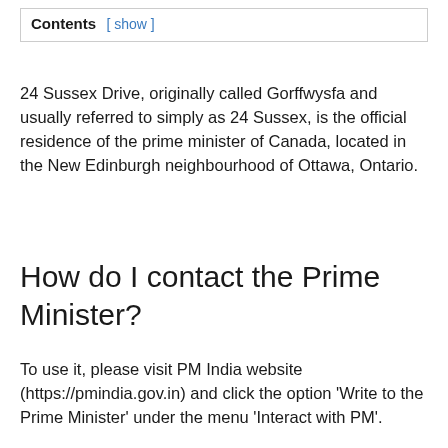Contents [ show ]
24 Sussex Drive, originally called Gorffwysfa and usually referred to simply as 24 Sussex, is the official residence of the prime minister of Canada, located in the New Edinburgh neighbourhood of Ottawa, Ontario.
How do I contact the Prime Minister?
To use it, please visit PM India website (https://pmindia.gov.in) and click the option ‘Write to the Prime Minister’ under the menu ‘Interact with PM’.